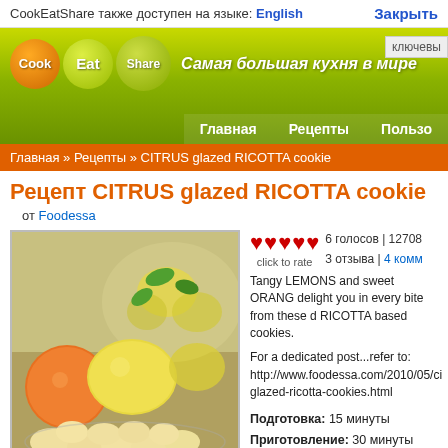CookEatShare также доступен на языке: English   Закрыть
[Figure (screenshot): CookEatShare website header with logo circles for Cook, Eat, Share, tagline 'Самая большая кухня в мире', navigation items Главная, Рецепты, Пользо, and ключевы search box]
Главная » Рецепты » CITRUS glazed RICOTTA cookie
Рецепт CITRUS glazed RICOTTA cookie
от Foodessa
[Figure (photo): Photo of lemons, orange, and baked ricotta cookies on a plate, with a decorative citrus-themed plate in background]
6 голосов | 12708
3 отзыва | 4 комм
Tangy LEMONS and sweet ORANG delight you in every bite from these d RICOTTA based cookies.

For a dedicated post...refer to:
http://www.foodessa.com/2010/05/ci glazed-ricotta-cookies.html
Подготовка: 15 минуты
Приготовление: 30 минуты
Порций: 4 dozen